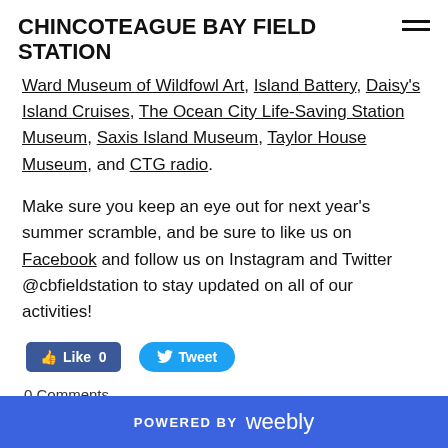CHINCOTEAGUE BAY FIELD STATION
Ward Museum of Wildfowl Art, Island Battery, Daisy's Island Cruises, The Ocean City Life-Saving Station Museum, Saxis Island Museum, Taylor House Museum, and CTG radio.
Make sure you keep an eye out for next year's summer scramble, and be sure to like us on Facebook and follow us on Instagram and Twitter @cbfieldstation to stay updated on all of our activities!
[Figure (screenshot): Facebook Like button showing 'Like 0' and Twitter Tweet button]
0 Comments
POWERED BY weebly